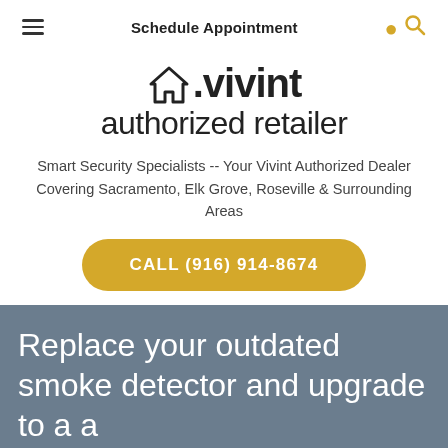Schedule Appointment
[Figure (logo): Vivint authorized retailer logo with house icon and brand name]
Smart Security Specialists -- Your Vivint Authorized Dealer Covering Sacramento, Elk Grove, Roseville & Surrounding Areas
CALL (916) 914-8674
Replace your outdated smoke detector and upgrade to a a